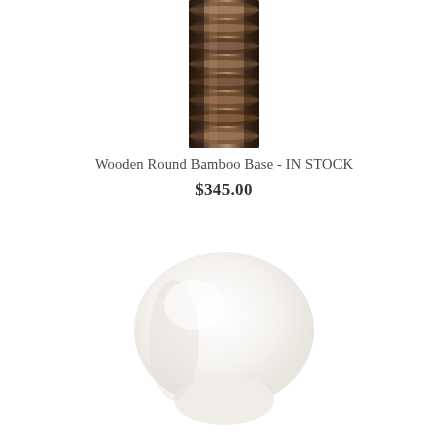[Figure (photo): Close-up photo of a wooden round bamboo base with dark brown textured ribbed surface, shown cropped at top portion of the page]
Wooden Round Bamboo Base - IN STOCK
$345.00
[Figure (photo): Photo of a white frosted glass or ceramic rounded lamp shade, shown at bottom of page, mostly white on white background]